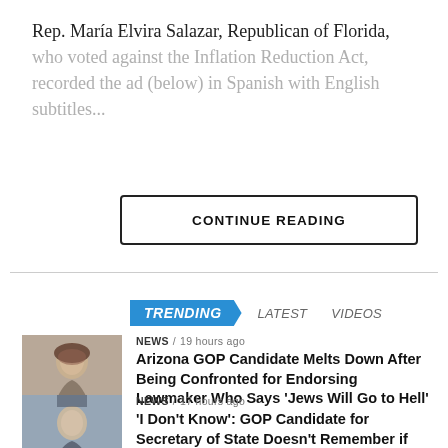Rep. María Elvira Salazar, Republican of Florida, who voted against the Inflation Reduction Act, recorded the ad (below) in Spanish with English subtitles...
CONTINUE READING
TRENDING   LATEST   VIDEOS
NEWS / 19 hours ago
Arizona GOP Candidate Melts Down After Being Confronted for Endorsing Lawmaker Who Says 'Jews Will Go to Hell'
NEWS / 17 hours ago
'I Don't Know': GOP Candidate for Secretary of State Doesn't Remember if He Voted for Trump in 2020 (Video)